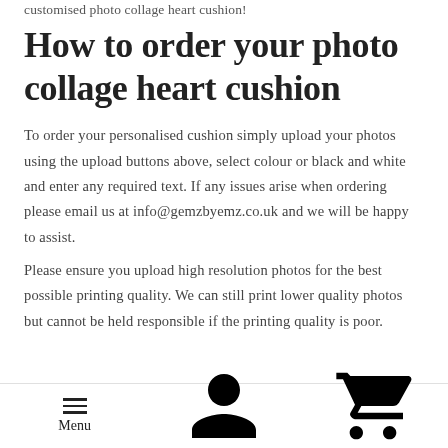customised photo collage heart cushion!
How to order your photo collage heart cushion
To order your personalised cushion simply upload your photos using the upload buttons above, select colour or black and white and enter any required text. If any issues arise when ordering please email us at info@gemzbyemz.co.uk and we will be happy to assist.
Please ensure you upload high resolution photos for the best possible printing quality. We can still print lower quality photos but cannot be held responsible if the printing quality is poor.
Menu | Log In | Cart